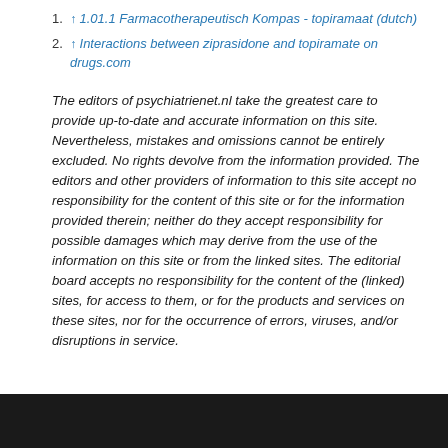1. ↑ 1.01.1 Farmacotherapeutisch Kompas - topiramaat (dutch)
2. ↑ Interactions between ziprasidone and topiramate on drugs.com
The editors of psychiatrienet.nl take the greatest care to provide up-to-date and accurate information on this site. Nevertheless, mistakes and omissions cannot be entirely excluded. No rights devolve from the information provided. The editors and other providers of information to this site accept no responsibility for the content of this site or for the information provided therein; neither do they accept responsibility for possible damages which may derive from the use of the information on this site or from the linked sites. The editorial board accepts no responsibility for the content of the (linked) sites, for access to them, or for the products and services on these sites, nor for the occurrence of errors, viruses, and/or disruptions in service.